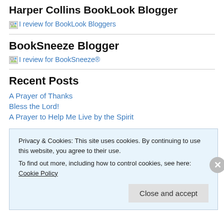Harper Collins BookLook Blogger
I review for BookLook Bloggers
BookSneeze Blogger
I review for BookSneeze®
Recent Posts
A Prayer of Thanks
Bless the Lord!
A Prayer to Help Me Live by the Spirit
Privacy & Cookies: This site uses cookies. By continuing to use this website, you agree to their use.
To find out more, including how to control cookies, see here: Cookie Policy
Close and accept